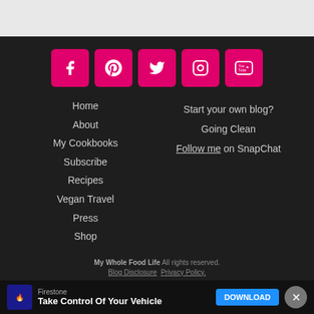[Figure (infographic): Social media icon buttons (Facebook, Pinterest, Twitter, Instagram, YouTube) in pink/magenta rounded squares]
Home
About
My Cookbooks
Subscribe
Recipes
Vegan Travel
Press
Shop
Start your own blog?
Going Clean
Follow me on SnapChat
My Whole Food Life All rights reserved. Blog Disclosure. Privacy Policy.
Exclusive Member of Mediavine Food
[Figure (screenshot): Firestone advertisement banner: Take Control Of Your Vehicle with DOWNLOAD button]